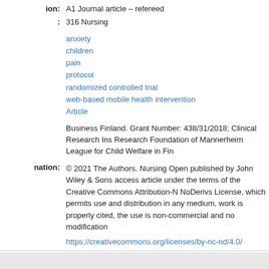ion: A1 Journal article – refereed
: 316 Nursing
anxiety
children
pain
protocol
randomized controlled trial
web-based mobile health intervention
Article
Business Finland. Grant Number: 438/31/2018; Clinical Research Ins Research Foundation of Mannerheim League for Child Welfare in Fin
nation: © 2021 The Authors. Nursing Open published by John Wiley & Sons access article under the terms of the Creative Commons Attribution-N NoDerivs License, which permits use and distribution in any medium, work is properly cited, the use is non-commercial and no modification
https://creativecommons.org/licenses/by-nc-nd/4.0/